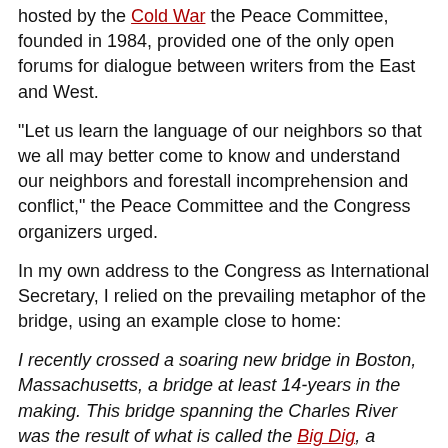hosted by the PEN Committee, founded in 1984, provided one of the only open forums for dialogue between writers from the East and West.
"Let us learn the language of our neighbors so that we all may better come to know and understand our neighbors and forestall incomprehension and conflict," the Peace Committee and the Congress organizers urged.
In my own address to the Congress as International Secretary, I relied on the prevailing metaphor of the bridge, using an example close to home:
I recently crossed a soaring new bridge in Boston, Massachusetts, a bridge at least 14-years in the making. This bridge spanning the Charles River was the result of what is called the Big Dig, a project anyone who has lived in or regularly visited Boston has come to think of as the Eternal Dig for it is hard to remember when a large segment of downtown wasn't under construction. But at last there is this soaring bridge with stanchions into the sky in gracious arcs and at night a blue light shining up into its cables as it rises above the city. There is also an elaborate network of freeways and tunnels underground.
I sometimes think International PEN is a bit like the Big Dig. For